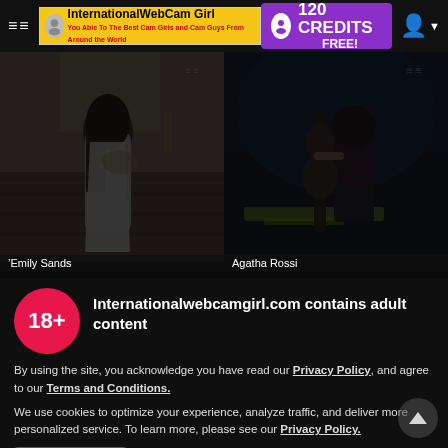International WebCam Girl — 120 CREDITS FREE!
[Figure (photo): Photo of a woman in a white robe/towel in a tiled outdoor setting]
[Figure (photo): Photo of a woman holding a guitar in a dark blue-lit setting]
Emily Sands
Agatha Rossi
Internationalwebcamgirl.com contains adult content
By using the site, you acknowledge you have read our Privacy Policy, and agree to our Terms and Conditions.
We use cookies to optimize your experience, analyze traffic, and deliver more personalized service. To learn more, please see our Privacy Policy.
I AGREE